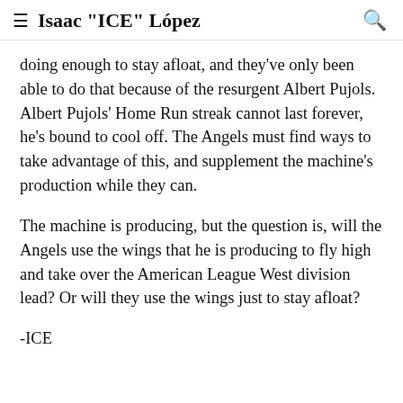≡  Isaac "ICE" López  🔍
doing enough to stay afloat, and they've only been able to do that because of the resurgent Albert Pujols. Albert Pujols' Home Run streak cannot last forever, he's bound to cool off. The Angels must find ways to take advantage of this, and supplement the machine's production while they can.
The machine is producing, but the question is, will the Angels use the wings that he is producing to fly high and take over the American League West division lead? Or will they use the wings just to stay afloat?
-ICE